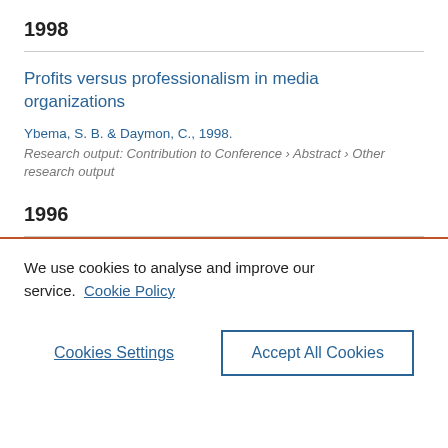1998
Profits versus professionalism in media organizations
Ybema, S. B. & Daymon, C., 1998.
Research output: Contribution to Conference › Abstract › Other research output
1996
We use cookies to analyse and improve our service. Cookie Policy
Cookies Settings
Accept All Cookies